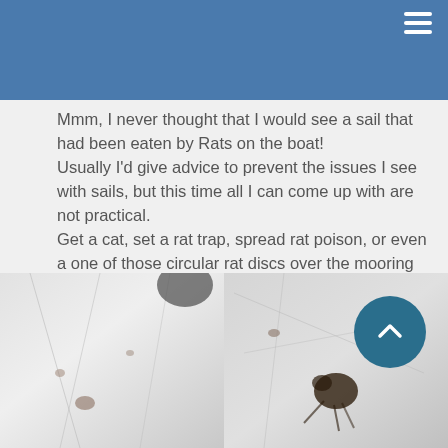[Figure (photo): Blue header bar with hamburger menu icon in top right corner, partially visible image underneath]
Mmm, I never thought that I would see a sail that had been eaten by Rats on the boat!
Usually I'd give advice to prevent the issues I see with sails, but this time all I can come up with are not practical.
Get a cat, set a rat trap, spread rat poison, or even a one of those circular rat discs over the mooring lines.
Or just call him Stuart Little and keep as a pet.
[Figure (photo): Two photographs of a damaged sail, showing white sail material with damage and dark discoloration marks, the right photo showing what appears to be rat damage or a rat]
[Figure (other): Circular teal scroll-to-top button with upward chevron arrow]